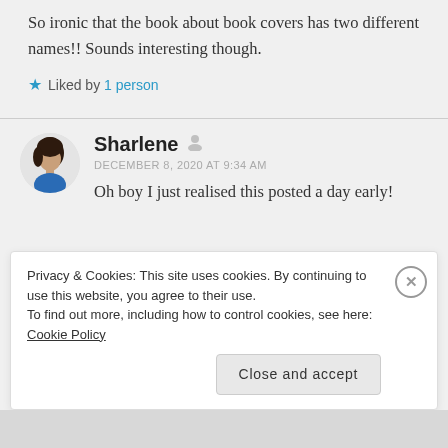So ironic that the book about book covers has two different names!! Sounds interesting though.
Liked by 1 person
Sharlene
DECEMBER 8, 2020 AT 9:34 AM
Oh boy I just realised this posted a day early!
Privacy & Cookies: This site uses cookies. By continuing to use this website, you agree to their use. To find out more, including how to control cookies, see here: Cookie Policy
Close and accept